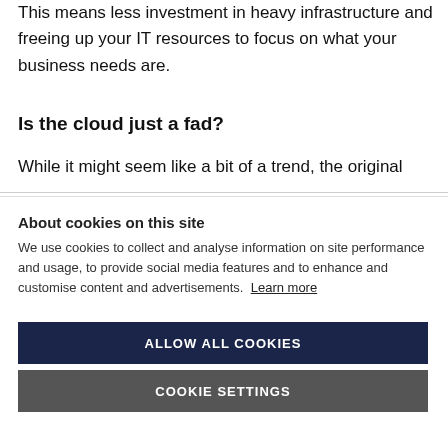This means less investment in heavy infrastructure and freeing up your IT resources to focus on what your business needs are.
Is the cloud just a fad?
While it might seem like a bit of a trend, the original
About cookies on this site
We use cookies to collect and analyse information on site performance and usage, to provide social media features and to enhance and customise content and advertisements. Learn more
ALLOW ALL COOKIES
COOKIE SETTINGS